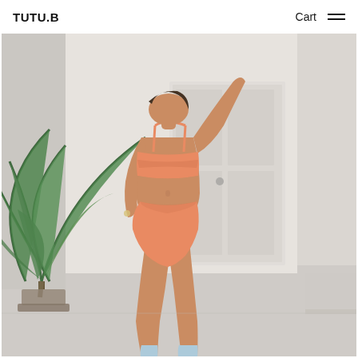TUTU.B   Cart ≡
[Figure (photo): A woman wearing a peach/salmon colored two-piece bandeau bikini set (wrap-style top with spaghetti straps and high-waisted bottoms), standing in a bright white room next to a large tropical plant (palm-like), posing with one arm raised. She is wearing light blue socks. The background includes a white door and white walls.]